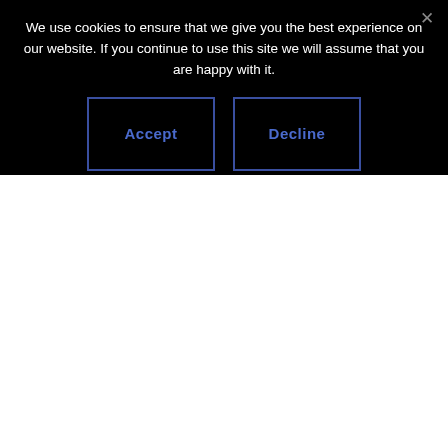We use cookies to ensure that we give you the best experience on our website. If you continue to use this site we will assume that you are happy with it.
[Figure (screenshot): Cookie consent dialog with Accept and Decline buttons on a black background, plus a close (×) button in the top-right corner.]